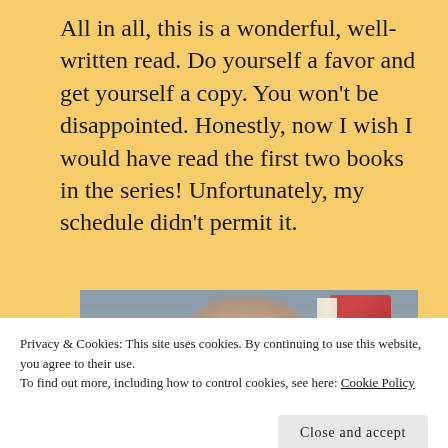All in all, this is a wonderful, well-written read.  Do yourself a favor and get yourself a copy.  You won't be disappointed.  Honestly, now I wish I would have read the first two books in the series!  Unfortunately, my schedule didn't permit it.
[Figure (photo): Partially visible photo of a person with a blurred face holding or standing near a red book, with a wooden floor visible at bottom. Image is partially obscured by cookie consent banner.]
Privacy & Cookies: This site uses cookies. By continuing to use this website, you agree to their use.
To find out more, including how to control cookies, see here: Cookie Policy
Close and accept